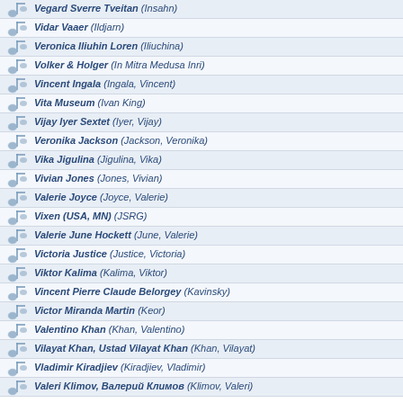Vegard Sverre Tveitan (Insahn)
Vidar Vaaer (Ildjarn)
Veronica Iliuhin Loren (Iliuchina)
Volker & Holger (In Mitra Medusa Inri)
Vincent Ingala (Ingala, Vincent)
Vita Museum (Ivan King)
Vijay Iyer Sextet (Iyer, Vijay)
Veronika Jackson (Jackson, Veronika)
Vika Jigulina (Jigulina, Vika)
Vivian Jones (Jones, Vivian)
Valerie Joyce (Joyce, Valerie)
Vixen (USA, MN) (JSRG)
Valerie June Hockett (June, Valerie)
Victoria Justice (Justice, Victoria)
Viktor Kalima (Kalima, Viktor)
Vincent Pierre Claude Belorgey (Kavinsky)
Victor Miranda Martin (Keor)
Valentino Khan (Khan, Valentino)
Vilayat Khan, Ustad Vilayat Khan (Khan, Vilayat)
Vladimir Kiradjiev (Kiradjiev, Vladimir)
Valeri Klimov, Валерий Климов (Klimov, Valeri)